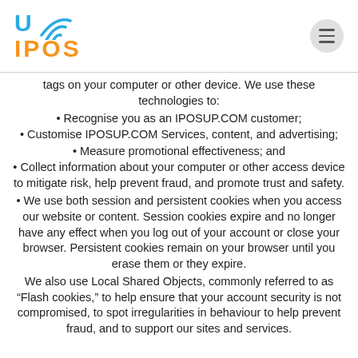[Figure (logo): UIPOS logo with orange IPOS text, blue U letter, and blue wifi arc symbol]
tags on your computer or other device. We use these technologies to:
Recognise you as an IPOSUP.COM customer;
Customise IPOSUP.COM Services, content, and advertising;
Measure promotional effectiveness; and
Collect information about your computer or other access device to mitigate risk, help prevent fraud, and promote trust and safety.
We use both session and persistent cookies when you access our website or content. Session cookies expire and no longer have any effect when you log out of your account or close your browser. Persistent cookies remain on your browser until you erase them or they expire.
We also use Local Shared Objects, commonly referred to as “Flash cookies,” to help ensure that your account security is not compromised, to spot irregularities in behaviour to help prevent fraud, and to support our sites and services.